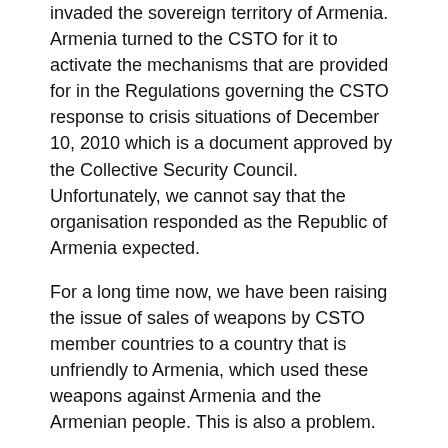invaded the sovereign territory of Armenia. Armenia turned to the CSTO for it to activate the mechanisms that are provided for in the Regulations governing the CSTO response to crisis situations of December 10, 2010 which is a document approved by the Collective Security Council. Unfortunately, we cannot say that the organisation responded as the Republic of Armenia expected.
For a long time now, we have been raising the issue of sales of weapons by CSTO member countries to a country that is unfriendly to Armenia, which used these weapons against Armenia and the Armenian people. This is also a problem.
Frankly, the CSTO member countries' response during the 44-day war of 2020 and the post-war period did not make the Republic of Armenia and the Armenian people very happy, but I want to emphasise the special role played by the Russian Federation and President of the Russian Federation Vladimir Putin personally in halting the war in Nagorno-Karabakh.
I would like to reaffirm that Armenia remains committed to the trilateral statements of November 9, 2020. I am referring to the trilateral statements by the President of the Russian